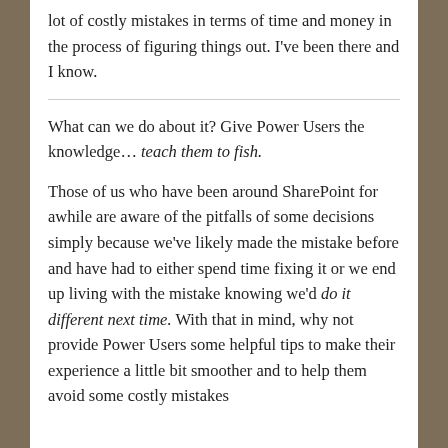lot of costly mistakes in terms of time and money in the process of figuring things out. I've been there and I know.
What can we do about it? Give Power Users the knowledge… teach them to fish.
Those of us who have been around SharePoint for awhile are aware of the pitfalls of some decisions simply because we've likely made the mistake before and have had to either spend time fixing it or we end up living with the mistake knowing we'd do it different next time. With that in mind, why not provide Power Users some helpful tips to make their experience a little bit smoother and to help them avoid some costly mistakes